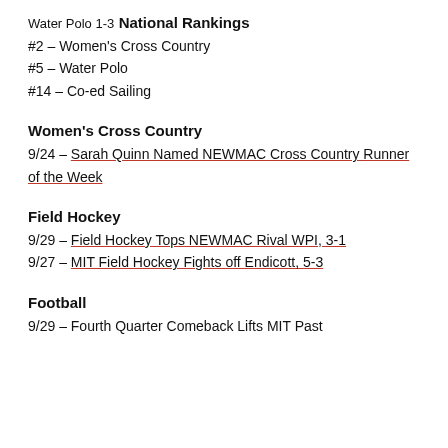Water Polo 1-3
National Rankings
#2 – Women's Cross Country
#5 – Water Polo
#14 – Co-ed Sailing
Women's Cross Country
9/24 – Sarah Quinn Named NEWMAC Cross Country Runner of the Week
Field Hockey
9/29 – Field Hockey Tops NEWMAC Rival WPI, 3-1
9/27 – MIT Field Hockey Fights off Endicott, 5-3
Football
9/29 – Fourth Quarter Comeback Lifts MIT Past